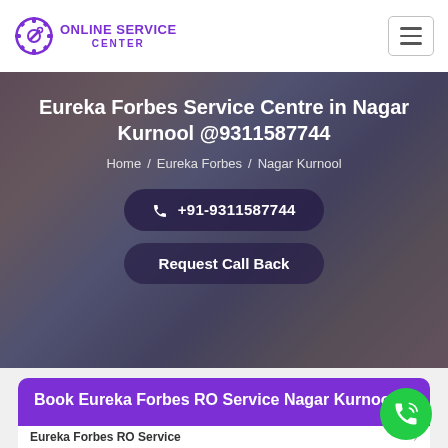Online Service Center
Eureka Forbes Service Centre in Nagar Kurnool @9311587744
Home / Eureka Forbes / Nagar Kurnool
+91-9311587744
Request Call Back
Book Eureka Forbes RO Service Nagar Kurnool:
Eureka Forbes RO Service